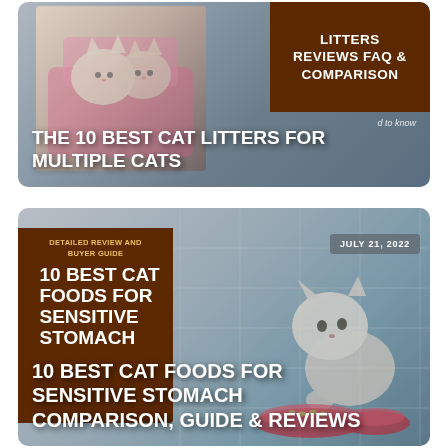[Figure (photo): Card image showing kittens in a pink litter box with a brown panel on the right displaying 'LITTERS REVIEWS FAQ & COMPARISON'. White bold text overlay reads 'THE 10 BEST CAT LITTERS FOR MULTIPLE CATS'.]
[Figure (photo): Card image showing a kitten eating from red bowls with a dark brown panel on the left displaying 'DETAILED REVIEW AND BUYER GUIDE' and '10 BEST CAT FOODS FOR SENSITIVE STOMACH'. A date badge 'JULY 21, 2022' is shown top right. White bold text overlay reads '10 BEST CAT FOODS FOR SENSITIVE STOMACH COMPARISON, GUIDE & REVIEWS'.]